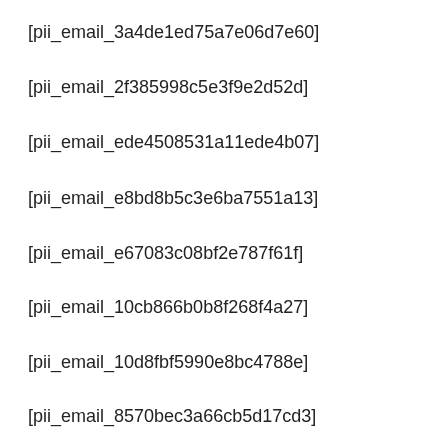[pii_email_3a4de1ed75a7e06d7e60]
[pii_email_2f385998c5e3f9e2d52d]
[pii_email_ede4508531a11ede4b07]
[pii_email_e8bd8b5c3e6ba7551a13]
[pii_email_e67083c08bf2e787f61f]
[pii_email_10cb866b0b8f268f4a27]
[pii_email_10d8fbf5990e8bc4788e]
[pii_email_8570bec3a66cb5d17cd3]